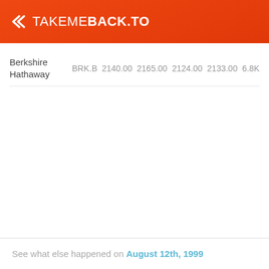TAKEMEBACK.TO
| Company | Ticker | Open | High | Low | Close | Volume |
| --- | --- | --- | --- | --- | --- | --- |
| Berkshire Hathaway | BRK.B | 2140.00 | 2165.00 | 2124.00 | 2133.00 | 6.8K |
See what else happened on August 12th, 1999